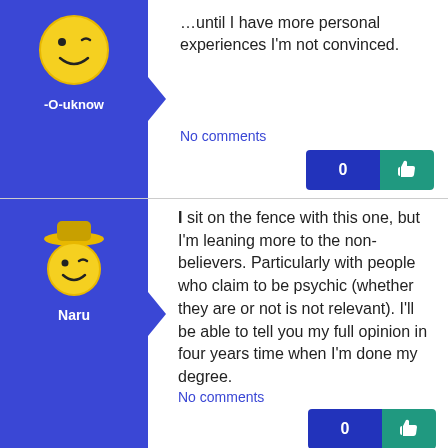[Figure (illustration): User avatar for -O-uknow: yellow winking smiley face on blue background]
-O-uknow
...until I have more personal experiences I'm not convinced.
No comments
[Figure (illustration): User avatar for Naru: yellow winking smiley with hat on blue background]
Naru
I sit on the fence with this one, but I'm leaning more to the non-believers. Particularly with people who claim to be psychic (whether they are or not is not relevant). I'll be able to tell you my full opinion in four years time when I'm done my degree.
No comments